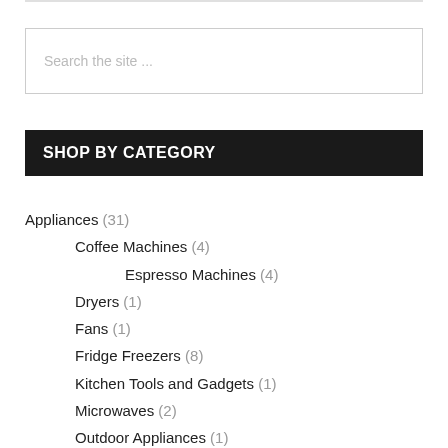Search the site ...
SHOP BY CATEGORY
Appliances (31)
Coffee Machines (4)
Espresso Machines (4)
Dryers (1)
Fans (1)
Fridge Freezers (8)
Kitchen Tools and Gadgets (1)
Microwaves (2)
Outdoor Appliances (1)
Barbecues and Accessories (1)